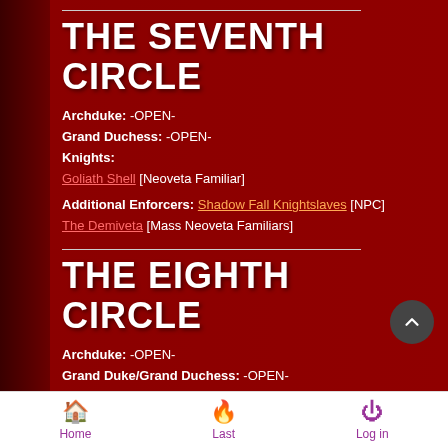THE SEVENTH CIRCLE
Archduke: -OPEN-
Grand Duchess: -OPEN-
Knights:
Goliath Shell [Neoveta Familiar]
Additional Enforcers: Shadow Fall Knightslaves [NPC]
The Demiveta [Mass Neoveta Familiars]
THE EIGHTH CIRCLE
Archduke: -OPEN-
Grand Duke/Grand Duchess: -OPEN-
Knights:
Vanyel Xioyang (Henrex)
Additional Enforcers: Shadow Fall Knightslaves [NPC]
Home   Last   Log in